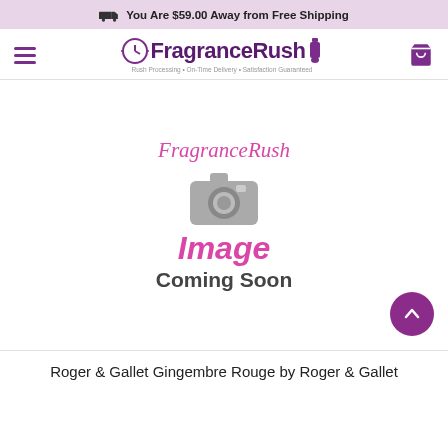You Are $59.00 Away from Free Shipping
[Figure (logo): FragranceRush logo with clock icon and tagline: Rush Processing • On-Time Delivery • Satisfaction Guaranteed]
[Figure (photo): Image Coming Soon placeholder with camera icon and FragranceRush script text]
Roger & Gallet Gingembre Rouge by Roger & Gallet